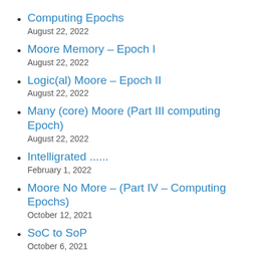Computing Epochs
August 22, 2022
Moore Memory – Epoch I
August 22, 2022
Logic(al) Moore – Epoch II
August 22, 2022
Many (core) Moore (Part III computing Epoch)
August 22, 2022
Intelligrated ......
February 1, 2022
Moore No More – (Part IV – Computing Epochs)
October 12, 2021
SoC to SoP
October 6, 2021